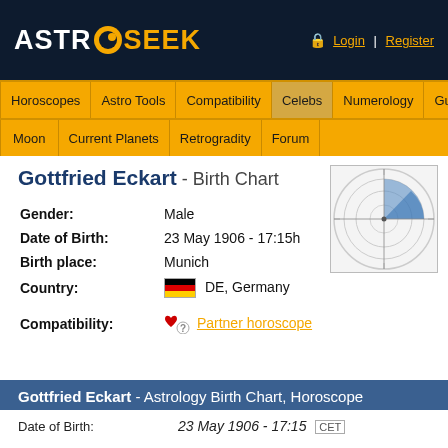ASTRO SEEK - Login | Register
Gottfried Eckart - Birth Chart
[Figure (other): Astrological birth chart wheel diagram showing planetary positions, blue shaded region on right side]
| Gender: | Male |
| Date of Birth: | 23 May 1906 - 17:15h |
| Birth place: | Munich |
| Country: | DE, Germany |
| Compatibility: | Partner horoscope |
Gottfried Eckart - Astrology Birth Chart, Horoscope
| Date of Birth: | 23 May 1906 - 17:15  CET |